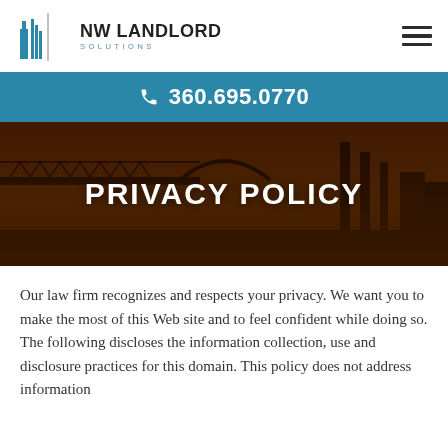[Figure (logo): NW Landlord Solutions logo with stylized building icon and company name]
360.695.0770
PRIVACY POLICY
[Figure (photo): Background photo of a bridge at dusk/sunset with an orange sky]
Our law firm recognizes and respects your privacy. We want you to make the most of this Web site and to feel confident while doing so. The following discloses the information collection, use and disclosure practices for this domain. This policy does not address information